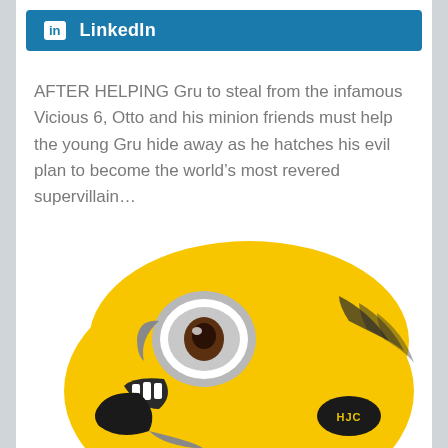LinkedIn
AFTER HELPING Gru to steal from the infamous Vicious 6, Otto and his minion friends must help the young Gru hide away as he hatches his evil plan to become the world’s most revered supervillain…
[Figure (photo): A yellow Minion-themed HJC motorcycle helmet showing the minion character design with one large eye, teeth, and black goggle/strap details on a bright yellow background.]